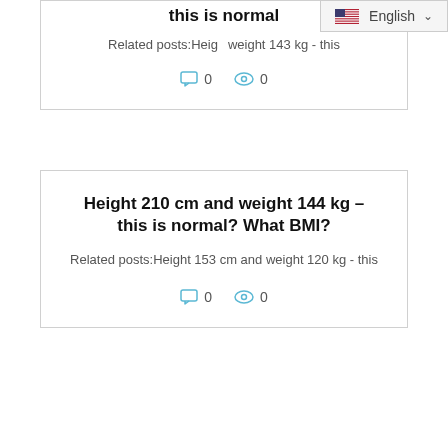this is normal
English (language selector)
Related posts:Height … weight 143 kg - this
0  0
Height 210 cm and weight 144 kg – this is normal? What BMI?
Related posts:Height 153 cm and weight 120 kg - this
0  0